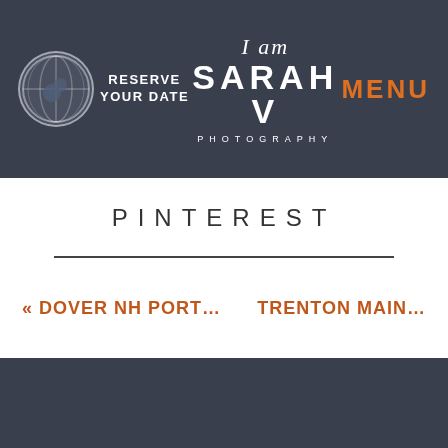RESERVE YOUR DATE | I am SARAH V PHOTOGRAPHY | MENU
PINTEREST
« DOVER NH PORT…   TRENTON MAIN…